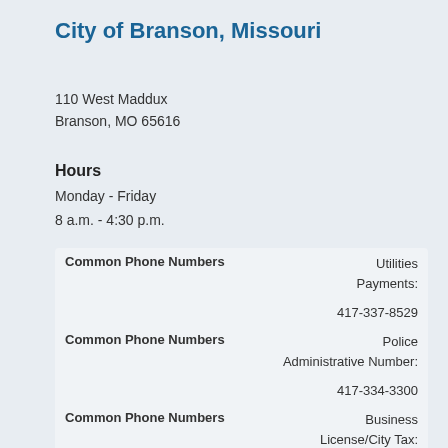City of Branson, Missouri
110 West Maddux
Branson, MO 65616
Hours
Monday - Friday
8 a.m. - 4:30 p.m.
| Common Phone Numbers |  |
| --- | --- |
| Common Phone Numbers | Utilities Payments: |
|  | 417-337-8529 |
| Common Phone Numbers | Police Administrative Number: |
|  | 417-334-3300 |
| Common Phone Numbers | Business License/City Tax: |
|  | 417-337-8551 |
| Common Phone Numbers | Liquor |